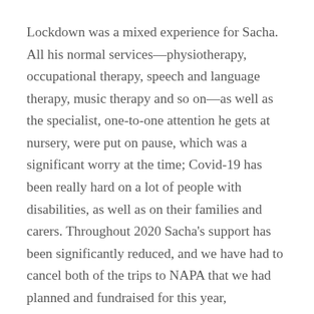Lockdown was a mixed experience for Sacha. All his normal services—physiotherapy, occupational therapy, speech and language therapy, music therapy and so on—as well as the specialist, one-to-one attention he gets at nursery, were put on pause, which was a significant worry at the time; Covid-19 has been really hard on a lot of people with disabilities, as well as on their families and carers. Throughout 2020 Sacha's support has been significantly reduced, and we have had to cancel both of the trips to NAPA that we had planned and fundraised for this year, essentially putting that aspect of Sacha's therapy on hold.
But lockdown also gave us an opportunity to spend more meaningful time with Sacha and to work more intensively on his therapies at home. Day after day